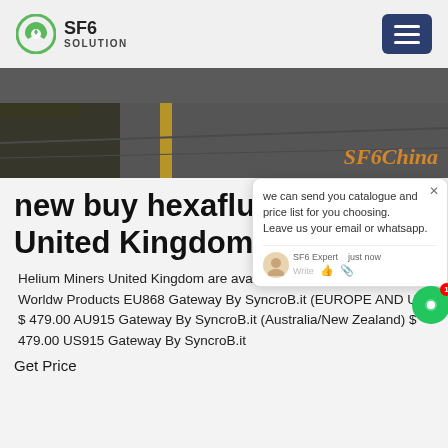SF6 SOLUTION
[Figure (photo): Road/highway surface aerial or side view, dark asphalt with yellow line, with 'SF6China' text overlay in orange italic]
new buy hexafluor United Kingdom
Helium Miners United Kingdom are available in our warehouse. Worldw Products EU868 Gateway By SyncroB.it (EUROPE AND UK) $ 479.00 AU915 Gateway By SyncroB.it (Australia/New Zealand) $ 479.00 US915 Gateway By SyncroB.it
Get Price